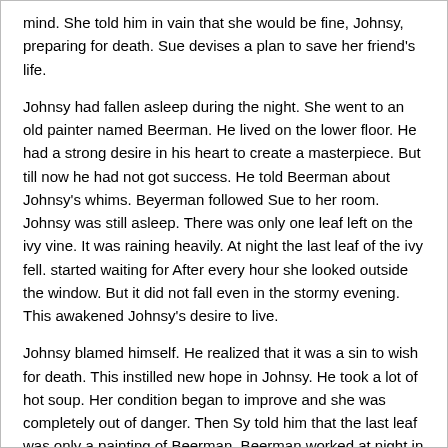mind. She told him in vain that she would be fine, Johnsy, preparing for death. Sue devises a plan to save her friend's life.
Johnsy had fallen asleep during the night. She went to an old painter named Beerman. He lived on the lower floor. He had a strong desire in his heart to create a masterpiece. But till now he had not got success. He told Beerman about Johnsy's whims. Beyerman followed Sue to her room. Johnsy was still asleep. There was only one leaf left on the ivy vine. It was raining heavily. At night the last leaf of the ivy fell. started waiting for After every hour she looked outside the window. But it did not fall even in the stormy evening. This awakened Johnsy's desire to live.
Johnsy blamed himself. He realized that it was a sin to wish for death. This instilled new hope in Johnsy. He took a lot of hot soup. Her condition began to improve and she was completely out of danger. Then Sy told him that the last leaf was only a painting of Beerman. Beerman worked at night in Varsha and got pneumonia. This was his masterpiece.